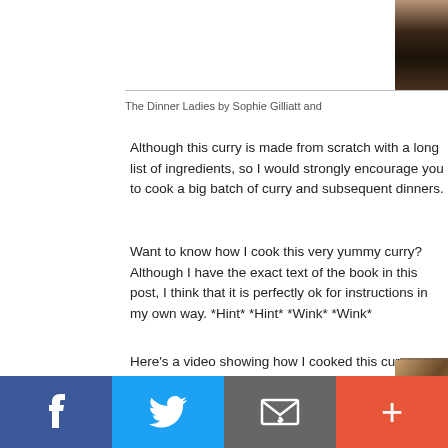[Figure (photo): Partial photo of a dark-haired person or food item, cropped at top right]
The Dinner Ladies by Sophie Gilliatt and
Although this curry is made from scratch with a long list of ingredients, so I would strongly encourage you to cook a big batch of curry and subsequent dinners.
Want to know how I cook this very yummy curry? Although I have the exact text of the book in this post, I think that it is perfectly ok for instructions in my own way. *Hint* *Hint* *Wink* *Wink*
Here's a video showing how I cooked this curry...
[Figure (screenshot): Video thumbnail showing Thai Massaman Chicken Curry by Bake for Happiness, with a bowl of curry and a circular logo]
[Figure (other): Social sharing bar with Facebook, Twitter, Email, and Plus buttons]